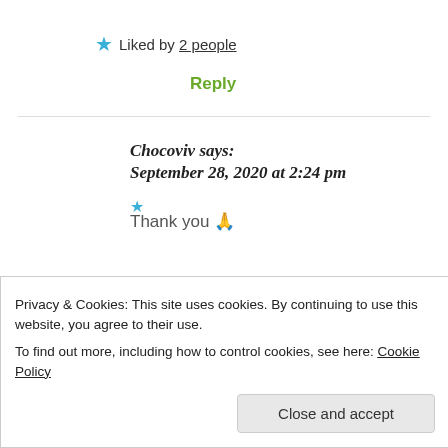★ Liked by 2 people
Reply
Chocoviv says: September 28, 2020 at 2:24 pm
Thank you 🙏
Privacy & Cookies: This site uses cookies. By continuing to use this website, you agree to their use. To find out more, including how to control cookies, see here: Cookie Policy
Close and accept